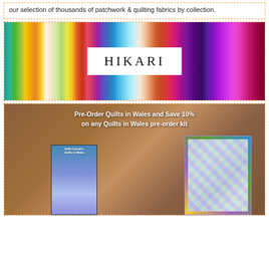our selection of thousands of patchwork & quilting fabrics by collection.
[Figure (photo): Colorful fabric rolls arranged side by side with a white label in the center reading HIKARI in large serif letters]
[Figure (photo): Advertisement image: Pre-Order Quilts in Wales and Save 10% on any Quilts in Wales pre-order kit. Shows Kaffe Fassett's Quilts in Wales book cover on the left and a colorful quilt on the right, with brick wall background.]